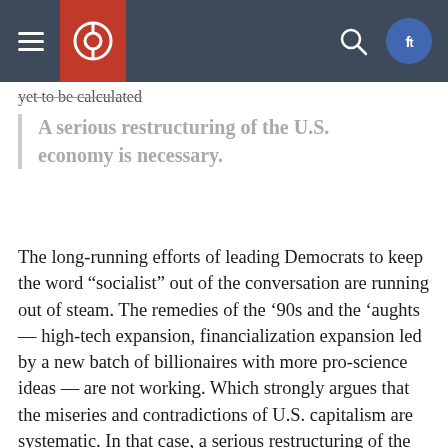[Navigation bar with hamburger menu, logo, search icon, and social media icons]
yet to be calculated
A serious restructuring of the U.S. economy is necessary.
The long-running efforts of leading Democrats to keep the word “socialist” out of the conversation are running out of steam. The remedies of the ’90s and the ’aughts — high-tech expansion, financialization expansion led by a new batch of billionaires with more pro-science ideas — are not working. Which strongly argues that the miseries and contradictions of U.S. capitalism are systematic. In that case, a serious restructuring of the U.S. economy is necessary. Not just from a “rational” point of view, either. For a...